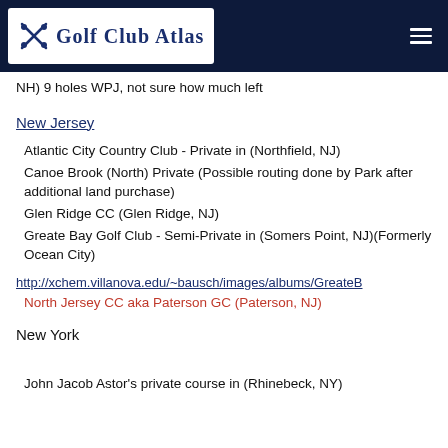Golf Club Atlas
NH) 9 holes WPJ, not sure how much left
New Jersey
Atlantic City Country Club - Private in (Northfield, NJ)
Canoe Brook (North) Private (Possible routing done by Park after additional land purchase)
Glen Ridge CC (Glen Ridge, NJ)
Greate Bay Golf Club - Semi-Private in (Somers Point, NJ)(Formerly Ocean City)
http://xchem.villanova.edu/~bausch/images/albums/GreateB
North Jersey CC aka Paterson GC (Paterson, NJ)
New York
John Jacob Astor's private course in (Rhinebeck, NY)